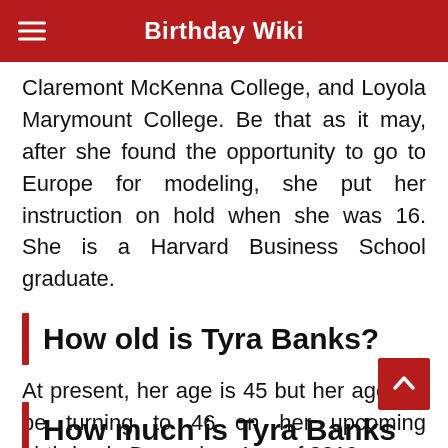Birthday Wiki
Claremont McKenna College, and Loyola Marymount College. Be that as it may, after she found the opportunity to go to Europe for modeling, she put her instruction on hold when she was 16. She is a Harvard Business School graduate.
How old is Tyra Banks?
At present, her age is 45 but her age will be turning to 46 on her upcoming birthday in December 4 as of 2019.
How much is Tyra Banks